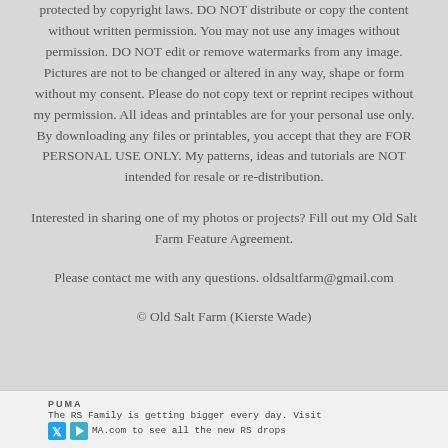protected by copyright laws. DO NOT distribute or copy the content without written permission. You may not use any images without permission. DO NOT edit or remove watermarks from any image. Pictures are not to be changed or altered in any way, shape or form without my consent. Please do not copy text or reprint recipes without my permission. All ideas and printables are for your personal use only. By downloading any files or printables, you accept that they are FOR PERSONAL USE ONLY. My patterns, ideas and tutorials are NOT intended for resale or re-distribution.
Interested in sharing one of my photos or projects? Fill out my Old Salt Farm Feature Agreement.
Please contact me with any questions. oldsaltfarm@gmail.com
© Old Salt Farm (Kierste Wade)
[Figure (other): Advertisement banner for PUMA: 'The RS Family is getting bigger every day. Visit MA.com to see all the new RS drops' with X and play button icons]